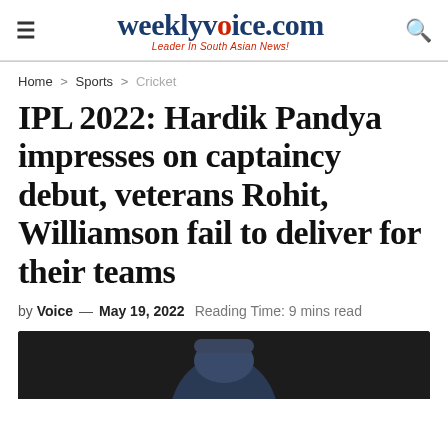weeklyvoice.com — Leader In South Asian News!
Home > Sports > Cricket
IPL 2022: Hardik Pandya impresses on captaincy debut, veterans Rohit, Williamson fail to deliver for their teams
by Voice — May 19, 2022  Reading Time: 9 mins read
[Figure (photo): Photo of a person wearing a blue cap against a dark background]